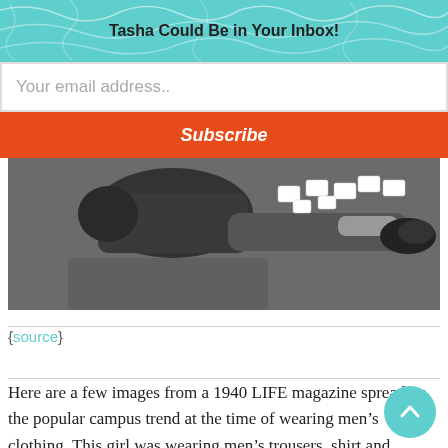Tasha Could Be in Your Inbox!
Your email address..
Subscribe
[Figure (photo): Black and white photograph showing a person lying on the floor wearing men's trousers with playing cards scattered around them, wearing moccasins/loafers.]
{source}
Here are a few images from a 1940 LIFE magazine spread on the popular campus trend at the time of wearing men’s clothing. This girl was wearing men’s trousers, shirt and moccasins (though I think of those more as loafers)...